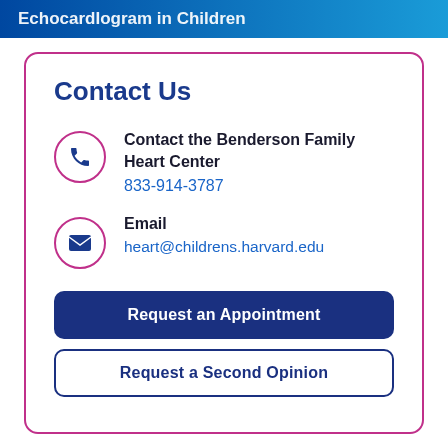EchocardIogram in Children
Contact Us
Contact the Benderson Family Heart Center
833-914-3787
Email
heart@childrens.harvard.edu
Request an Appointment
Request a Second Opinion